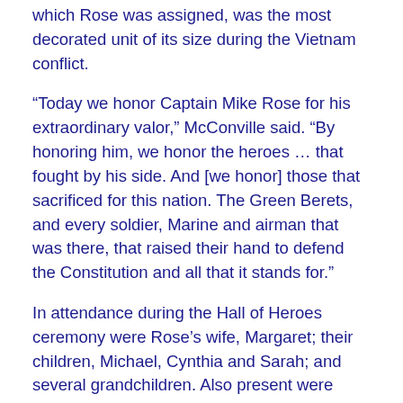which Rose was assigned, was the most decorated unit of its size during the Vietnam conflict.
“Today we honor Captain Mike Rose for his extraordinary valor,” McConville said. “By honoring him, we honor the heroes … that fought by his side. And [we honor] those that sacrificed for this nation. The Green Berets, and every soldier, Marine and airman that was there, that raised their hand to defend the Constitution and all that it stands for.”
In attendance during the Hall of Heroes ceremony were Rose’s wife, Margaret; their children, Michael, Cynthia and Sarah; and several grandchildren. Also present were some of his battle buddies from Operation Tailwind and others from the Military Assistance Command, Vietnam – Studies and Observations Group, or MACV-SOG.
“It’s no surprise that Mike considers his Medal of Honor to